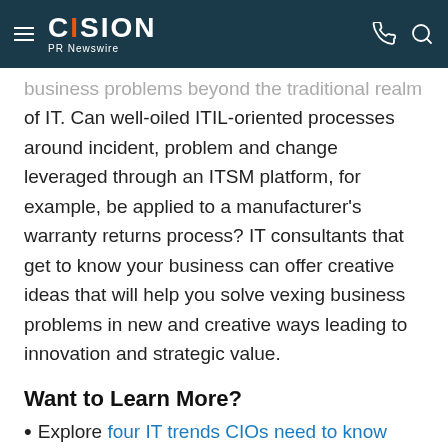CISION PR Newswire
business problems beyond the traditional realm of IT. Can well-oiled ITIL-oriented processes around incident, problem and change leveraged through an ITSM platform, for example, be applied to a manufacturer's warranty returns process? IT consultants that get to know your business can offer creative ideas that will help you solve vexing business problems in new and creative ways leading to innovation and strategic value.
Want to Learn More?
Explore four IT trends CIOs need to know about